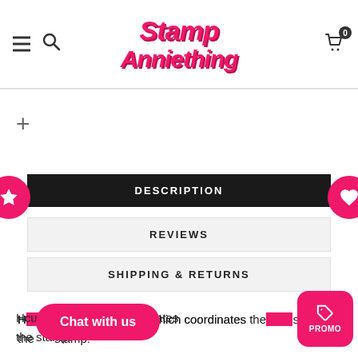Stamp Anniething — Navigation header with hamburger menu, search icon, logo, and cart
+
[Figure (screenshot): Pink circular button with star icon on left side, and pink circular button with heart icon on right side]
DESCRIPTION
REVIEWS
SHIPPING & RETURNS
H... cutting die which coordinates the... stamp.
[Figure (other): Pink Chat with us button overlay]
[Figure (other): Pink PROMO button in bottom right corner]